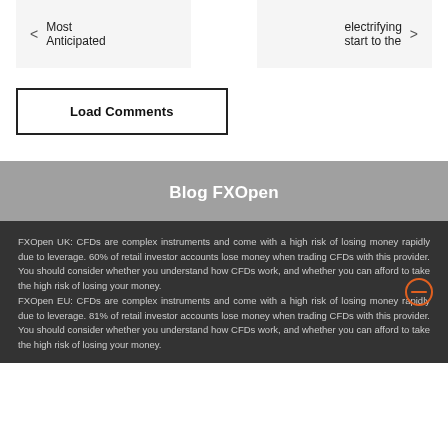< Most Anticipated
electrifying start to the >
Load Comments
Blog FXOpen
FXOpen UK: CFDs are complex instruments and come with a high risk of losing money rapidly due to leverage. 60% of retail investor accounts lose money when trading CFDs with this provider. You should consider whether you understand how CFDs work, and whether you can afford to take the high risk of losing your money. FXOpen EU: CFDs are complex instruments and come with a high risk of losing money rapidly due to leverage. 81% of retail investor accounts lose money when trading CFDs with this provider. You should consider whether you understand how CFDs work, and whether you can afford to take the high risk of losing your money.